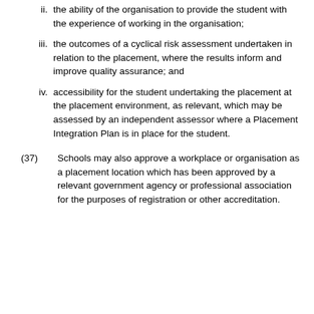ii. the ability of the organisation to provide the student with the experience of working in the organisation;
iii. the outcomes of a cyclical risk assessment undertaken in relation to the placement, where the results inform and improve quality assurance; and
iv. accessibility for the student undertaking the placement at the placement environment, as relevant, which may be assessed by an independent assessor where a Placement Integration Plan is in place for the student.
(37) Schools may also approve a workplace or organisation as a placement location which has been approved by a relevant government agency or professional association for the purposes of registration or other accreditation.